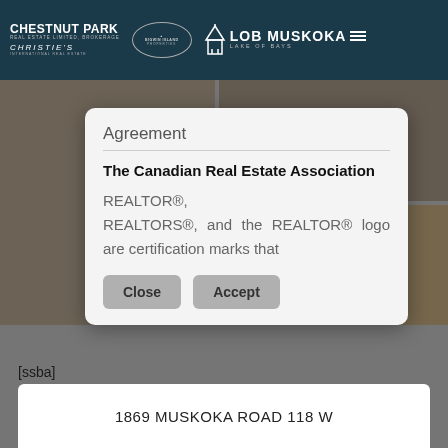CHESTNUT PARK REAL ESTATE LIMITED, BROKERAGE | CHRISTIE'S INTERNATIONAL REAL ESTATE | BIGWIN ISLAND PROPERTIES | LOB MUSKOKA LAKE OF BAYS
Agreement
The Canadian Real Estate Association
REALTOR®, REALTORS®, and the REALTOR® logo are certification marks that
Close
Accept
[ssba]
1869 MUSKOKA ROAD 118 W